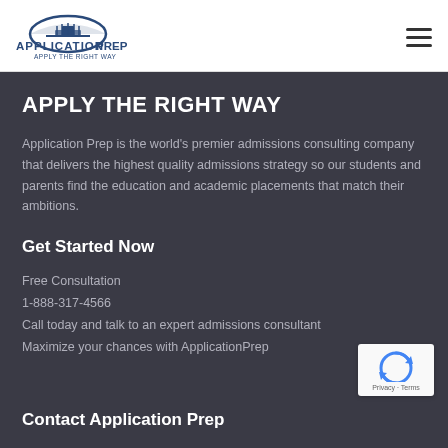ApplicationPrep — Apply the Right Way
APPLY THE RIGHT WAY
Application Prep is the world's premier admissions consulting company that delivers the highest quality admissions strategy so our students and parents find the education and academic placements that match their ambitions.
Get Started Now
Free Consultation
1-888-317-4566
Call today and talk to an expert admissions consultant
Maximize your chances with ApplicationPrep
Contact Application Prep